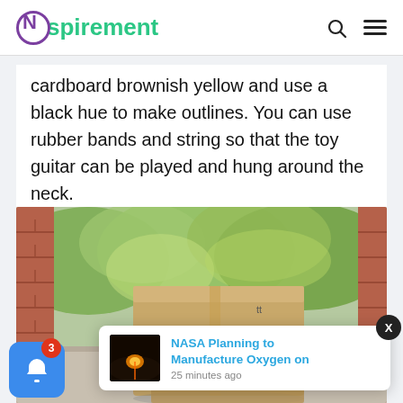Nspirement
cardboard brownish yellow and use a black hue to make outlines. You can use rubber bands and string so that the toy guitar can be played and hung around the neck.
[Figure (photo): Amazon cardboard delivery box with logo sitting on a doorstep in front of a brick wall and green foliage in the background.]
NASA Planning to Manufacture Oxygen on
25 minutes ago